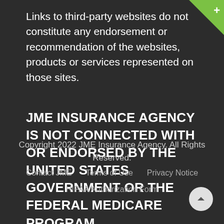Links to third-party websites do not constitute any endorsement or recommendation of the websites, products or services represented on those sites.
JME INSURANCE AGENCY IS NOT CONNECTED WITH OR ENDORSED BY THE UNITED STATES GOVERNMENT OR THE FEDERAL MEDICARE PROGRAM.
Copyright 2022 JME Insurance Agency. All Rights Reserved.
Contact JME   Terms of Use   Privacy Notice   HIPAA Authorization Form